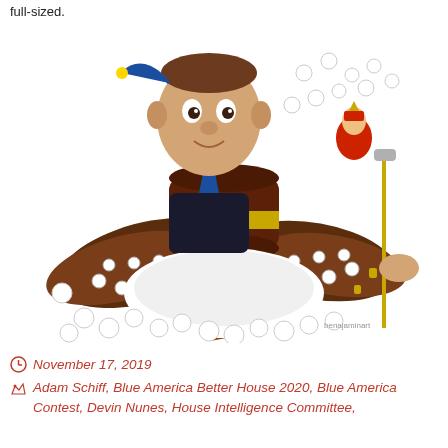full-sized.
[Figure (illustration): Political illustration/caricature showing a man in a jester costume with an exaggerated large head, surrounded by golf balls, golf shoes, a large judge's gavel, a golf club, and a small Russian-themed figure. The image appears to be a satirical collage referencing Adam Schiff and Devin Nunes.]
November 17, 2019
Adam Schiff, Blue America Better House 2020, Blue America Contest, Devin Nunes, House Intelligence Committee,